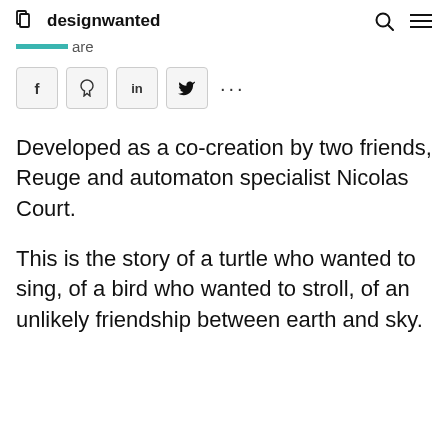designwanted
are
[Figure (other): Social share buttons: Facebook (f), Pinterest (p), LinkedIn (in), Twitter bird icon, and more options (...)]
Developed as a co-creation by two friends, Reuge and automaton specialist Nicolas Court.
This is the story of a turtle who wanted to sing, of a bird who wanted to stroll, of an unlikely friendship between earth and sky.